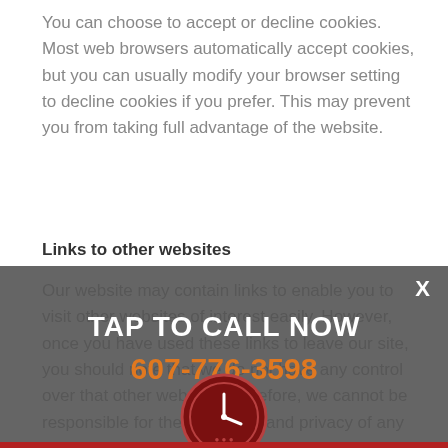You can choose to accept or decline cookies. Most web browsers automatically accept cookies, but you can usually modify your browser setting to decline cookies if you prefer. This may prevent you from taking full advantage of the website.
Links to other websites
Our website may contain links to enable you to visit other websites of interest easily. However, once you have used these links to leave our site, you should note that we do not have any control over that other website. Therefore, we cannot be responsible for the protection and privacy of any information which you provide whilst visiting such sites and such sites are not governed by this privacy statement. You should exercise caution and look at the privacy statement applicable to the website in question.
[Figure (other): Dark overlay banner with TAP TO CALL NOW text in white, phone number 607-776-3598 in orange, a clock icon in dark red, and an X close button. Red bar at bottom.]